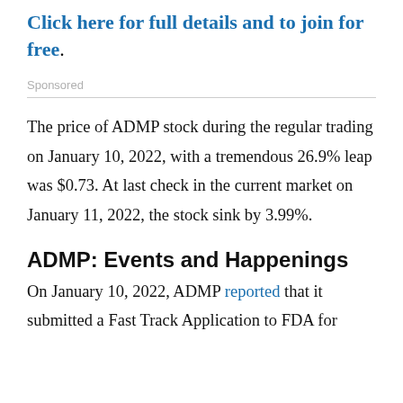Click here for full details and to join for free.
Sponsored
The price of ADMP stock during the regular trading on January 10, 2022, with a tremendous 26.9% leap was $0.73. At last check in the current market on January 11, 2022, the stock sink by 3.99%.
ADMP: Events and Happenings
On January 10, 2022, ADMP reported that it submitted a Fast Track Application to FDA for